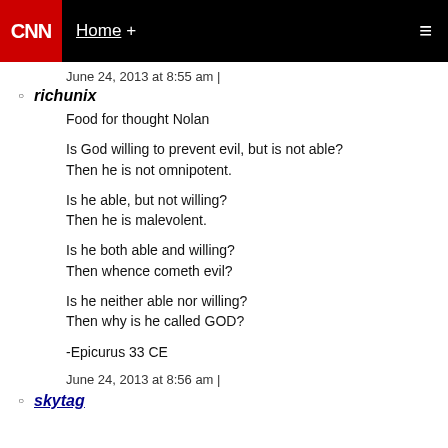CNN | Home + ☰
June 24, 2013 at 8:55 am |
richunix
Food for thought Nolan

Is God willing to prevent evil, but is not able?
Then he is not omnipotent.

Is he able, but not willing?
Then he is malevolent.

Is he both able and willing?
Then whence cometh evil?

Is he neither able nor willing?
Then why is he called GOD?

-Epicurus 33 CE
June 24, 2013 at 8:56 am |
skytag